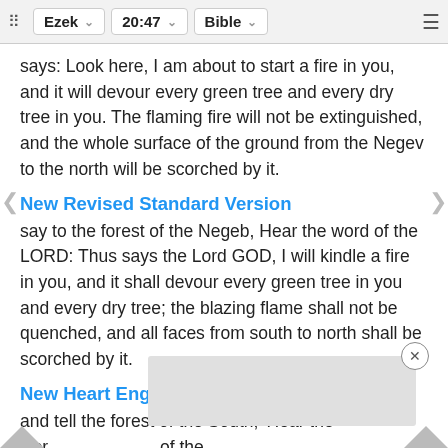⠿  Ezek ∨  20:47 ∨  Bible ∨  ≡
says: Look here, I am about to start a fire in you, and it will devour every green tree and every dry tree in you. The flaming fire will not be extinguished, and the whole surface of the ground from the Negev to the north will be scorched by it.
New Revised Standard Version
say to the forest of the Negeb, Hear the word of the LORD: Thus says the Lord GOD, I will kindle a fire in you, and it shall devour every green tree in you and every dry tree; the blazing flame shall not be quenched, and all faces from south to north shall be scorched by it.
New Heart English Bible
and tell the forest of the South, 'Hear the word of the LORD... kindle a fire... in